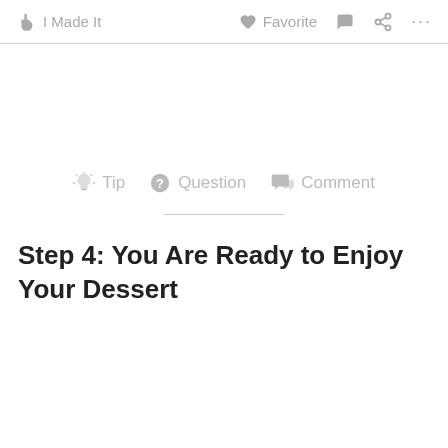I Made It   Favorite
Tip   Question   Comment
Step 4: You Are Ready to Enjoy Your Dessert